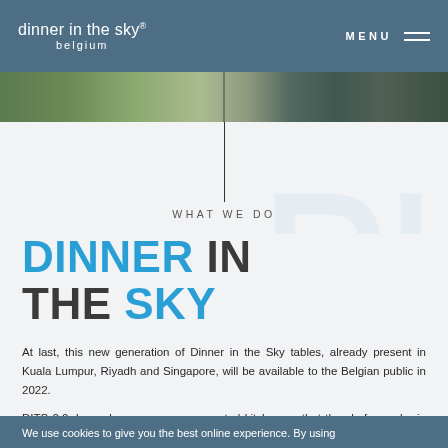dinner in the sky® belgium — MENU
[Figure (photo): Aerial view photo strip showing green landscape and buildings from above]
WHAT WE DO
DINNER IN THE SKY
At last, this new generation of Dinner in the Sky tables, already present in Kuala Lumpur, Riyadh and Singapore, will be available to the Belgian public in 2022.
DITS 2.0, has a larger, more open central kitchen so that the chefs can be in direct contact with all guests.
Also, eight tables for four people set around the open kitchen makes it possible to seat 32 guests in greater privacy.
We use cookies to give you the best online experience. By using